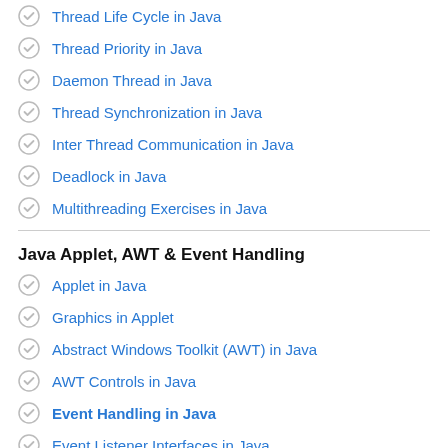Thread Life Cycle in Java
Thread Priority in Java
Daemon Thread in Java
Thread Synchronization in Java
Inter Thread Communication in Java
Deadlock in Java
Multithreading Exercises in Java
Java Applet, AWT & Event Handling
Applet in Java
Graphics in Applet
Abstract Windows Toolkit (AWT) in Java
AWT Controls in Java
Event Handling in Java
Event Listener Interfaces in Java
Layout Manager in Java
Java Swings
Swings in Java